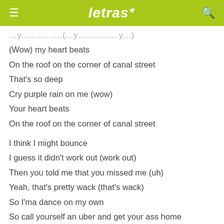letras
(Wow) my heart beats
On the roof on the corner of canal street
That's so deep
Cry purple rain on me (wow)
Your heart beats
On the roof on the corner of canal street

I think I might bounce
I guess it didn't work out (work out)
Then you told me that you missed me (uh)
Yeah, that's pretty wack (that's wack)
So I'ma dance on my own
So call yourself an uber and get your ass home
'Cause I heard you have a girlfriend